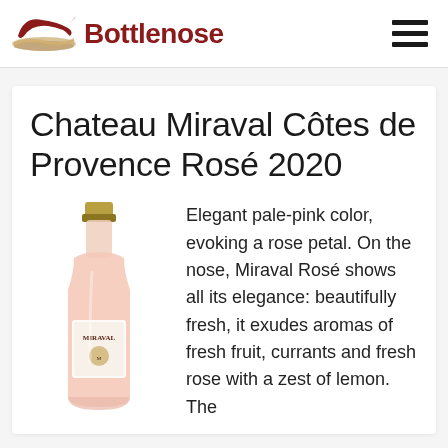Bottlenose
Chateau Miraval Côtes de Provence Rosé 2020
[Figure (photo): Bottle of Chateau Miraval rosé wine, pale pink colored glass bottle with gold foil top and Miraval label]
Elegant pale-pink color, evoking a rose petal. On the nose, Miraval Rosé shows all its elegance: beautifully fresh, it exudes aromas of fresh fruit, currants and fresh rose with a zest of lemon. The